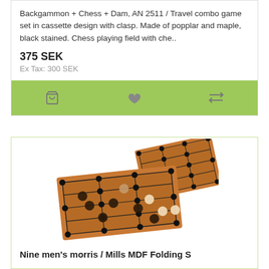Backgammon + Chess + Dam, AN 2511 / Travel combo game set in cassette design with clasp. Made of popplar and maple, black stained. Chess playing field with che..
375 SEK
Ex Tax: 300 SEK
[Figure (other): Green action bar with shopping cart icon, heart/wishlist icon, and compare arrows icon]
[Figure (photo): Photo of Nine men's morris / Mills MDF Folding S — two wooden folding game boards with black and natural wood playing pieces arranged on them]
Nine men's morris / Mills MDF Folding S